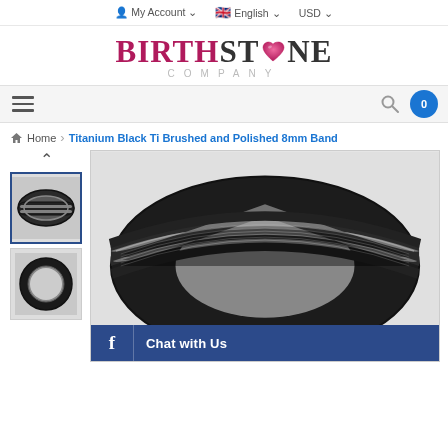My Account  English  USD
[Figure (logo): Birthstone Company logo with heart replacing O in STONE]
[Figure (screenshot): Navigation menu bar with hamburger menu, search icon, and cart button showing 0]
Home > Titanium Black Ti Brushed and Polished 8mm Band
[Figure (photo): Thumbnail of black titanium ring with brushed center stripe, selected with blue border]
[Figure (photo): Thumbnail of black titanium ring viewed from inside]
[Figure (photo): Main large product photo of black titanium ring with brushed and polished stripes]
Chat with Us